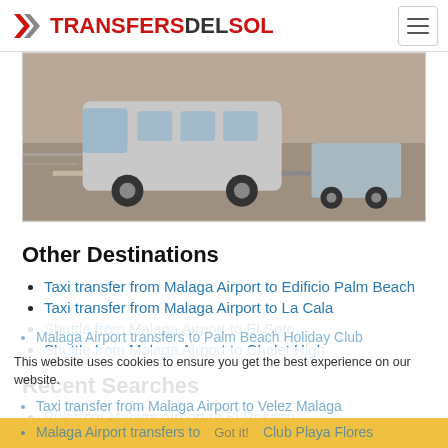TRANSFERSDELSOL
[Figure (photo): Silver van/minibus towing a trailer on a road, motion-blurred background]
Other Destinations
Taxi transfer from Malaga Airport to Edificio Palm Beach
Taxi transfer from Malaga Airport to La Cala
Shuttle from Malaga Airport to El Soto
Shuttle from Malaga Airport to Chalet High
Recent Searches
Bus from Malaga Airport to El Rosario
Malaga Airport transfers to Palm Beach Holiday Club
Taxi transfer from Malaga Airport to Velez Malaga
Malaga Airport transfers to Club Playa Flores
This website uses cookies to ensure you get the best experience on our website.